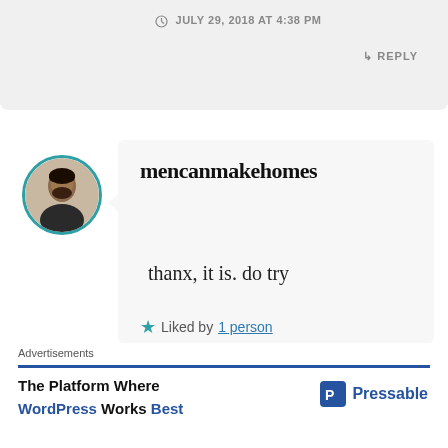JULY 29, 2018 AT 4:38 PM
REPLY
mencanmakehomes
thanx, it is. do try
Liked by 1 person
JULY 30, 2018 AT 12:43 AM
REPLY
Advertisements
The Platform Where WordPress Works Best
[Figure (logo): Pressable logo with blue P icon and text 'Pressable']